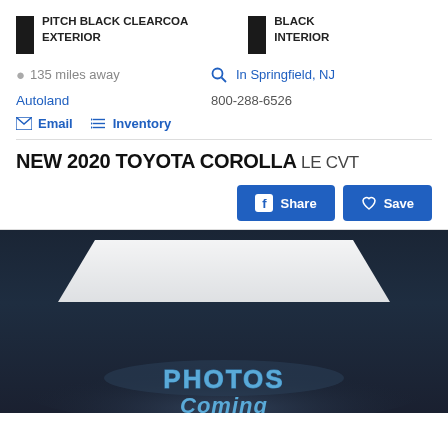PITCH BLACK CLEARCOA EXTERIOR
BLACK INTERIOR
135 miles away
In Springfield, NJ
Autoland
800-288-6526
Email   Inventory
NEW 2020 TOYOTA COROLLA LE CVT
[Figure (photo): Dark studio background with overhead rectangular light panel and 'PHOTOS Coming' text overlay, indicating vehicle photos are forthcoming]